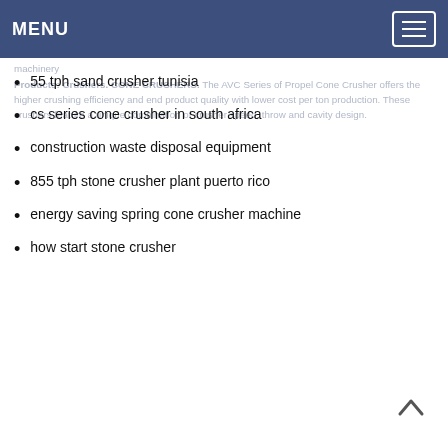MENU
machinery
Products: Crushers. CONE CRUSHERS. The AVC Series of Propel Cone Crusher offers the higher crushing efficiency and end product quality with lower cost per ton production. These crushers feature a unique combination of crusher speed, throw and cavity design.
55 tph sand crusher tunisia
cs series cone crusher in south africa
construction waste disposal equipment
855 tph stone crusher plant puerto rico
energy saving spring cone crusher machine
how start stone crusher